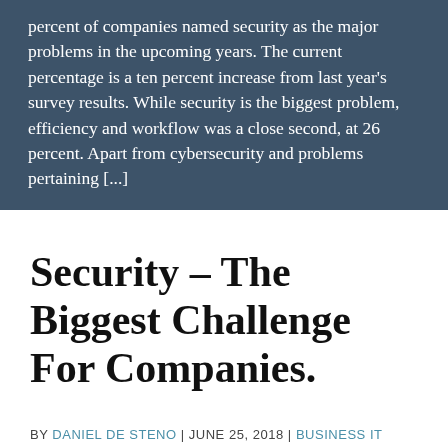percent of companies named security as the major problems in the upcoming years. The current percentage is a ten percent increase from last year's survey results. While security is the biggest problem, efficiency and workflow was a close second, at 26 percent. Apart from cybersecurity and problems pertaining [...]
Security – The Biggest Challenge For Companies.
BY DANIEL DE STENO | JUNE 25, 2018 | BUSINESS IT ARTICLES, NEWS, AND TIPS